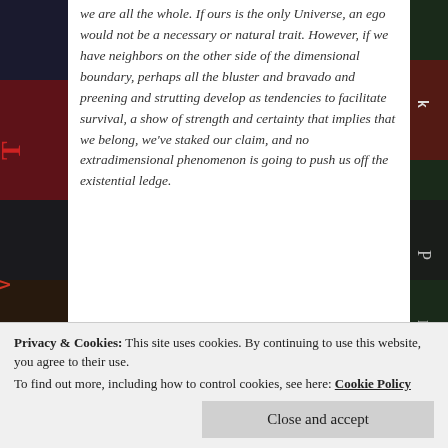we are all the whole. If ours is the only Universe, an ego would not be a necessary or natural trait. However, if we have neighbors on the other side of the dimensional boundary, perhaps all the bluster and bravado and preening and strutting develop as tendencies to facilitate survival, a show of strength and certainty that implies that we belong, we've staked our claim, and no extradimensional phenomenon is going to push us off the existential ledge.
Dr. Amos Atlas
Reality Unhinged
[Figure (other): Thumbnail image link for Burning Man 2017: Stunning Photos From The World's [most famous festival]]
Privacy & Cookies: This site uses cookies. By continuing to use this website, you agree to their use. To find out more, including how to control cookies, see here: Cookie Policy
Close and accept
College of Sciences at a large, state-run University in the